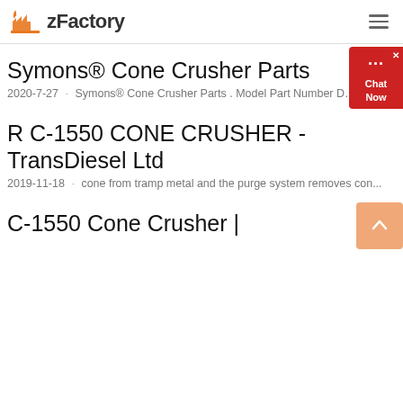zFactory
Symons® Cone Crusher Parts
2020-7-27 · Symons® Cone Crusher Parts . Model Part Number Des...
R C-1550 CONE CRUSHER - TransDiesel Ltd
2019-11-18 · cone from tramp metal and the purge system removes con...
C-1550 Cone Crusher |